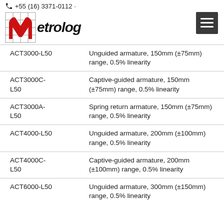+55 (16) 3371-0112 · Metrolog
| Model | Description |
| --- | --- |
| ACT3000-L50 | Unguided armature, 150mm (±75mm) range, 0.5% linearity |
| ACT3000C-L50 | Captive-guided armature, 150mm (±75mm) range, 0.5% linearity |
| ACT3000A-L50 | Spring return armature, 150mm (±75mm) range, 0.5% linearity |
| ACT4000-L50 | Unguided armature, 200mm (±100mm) range, 0.5% linearity |
| ACT4000C-L50 | Captive-guided armature, 200mm (±100mm) range, 0.5% linearity |
| ACT6000-L50 | Unguided armature, 300mm (±150mm) range, 0.5% linearity |